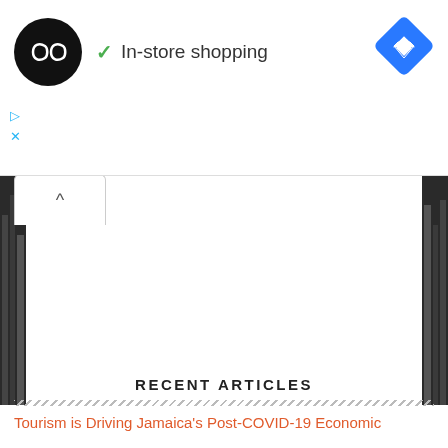[Figure (screenshot): Ad bar with black circle logo containing infinity symbol, checkmark and 'In-store shopping' text, blue diamond navigation icon, and ad control icons]
[Figure (photo): Black and white cityscape photo visible on left and right sides with white center panel overlay]
RECENT ARTICLES
Tourism is Driving Jamaica's Post-COVID-19 Economic